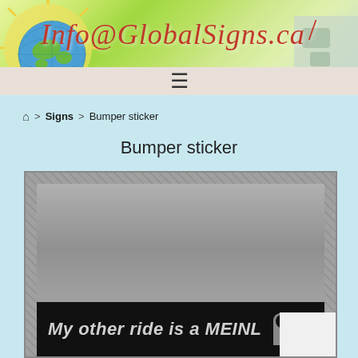Info@GlobalSigns.ca
≡
🏠 > Signs > Bumper sticker
Bumper sticker
[Figure (photo): Bumper sticker product photo showing a black bumper sticker with white italic bold text reading 'My other ride is a MEINL' with the Meinl logo (double-M stylized icon) on a grey background]